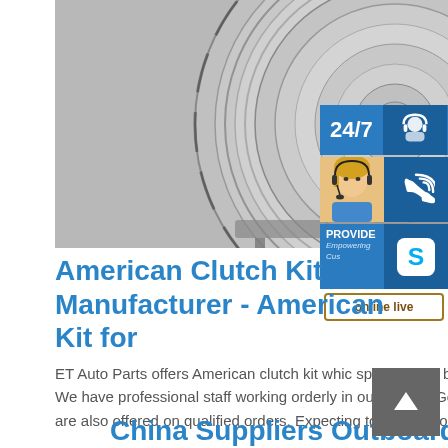[Figure (photo): Photo of large coiled metal rolls/reels stacked in a warehouse or factory setting.]
American Clutch Kit Manufacturer - American Kit for
ET Auto Parts offers American clutch kit which speed, good balance, simple structure, high s life span. We have professional staff working orderly in our factory. Good after-sales service and timely delivery are also offered on qualified orders. Expecting to be your long-term partner in
China Suppliers Outboard Parts